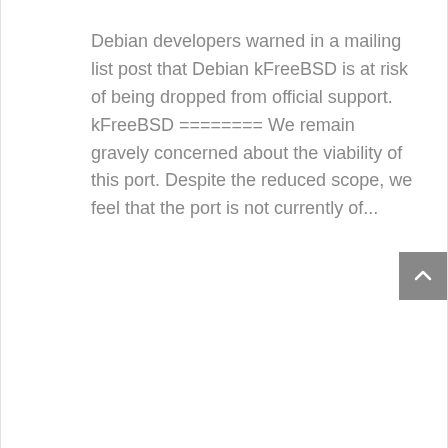Debian developers warned in a mailing list post that Debian kFreeBSD is at risk of being dropped from official support. kFreeBSD ======== We remain gravely concerned about the viability of this port. Despite the reduced scope, we feel that the port is not currently of...